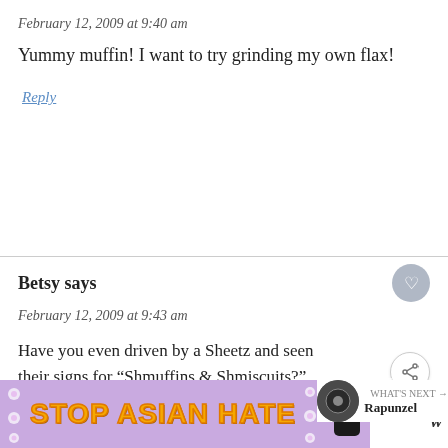February 12, 2009 at 9:40 am
Yummy muffin! I want to try grinding my own flax!
Reply
Betsy says
February 12, 2009 at 9:43 am
Have you even driven by a Sheetz and seen their signs for “Shmuffins & Shmiscuits?”
[Figure (other): STOP ASIAN HATE advertisement banner with purple background, white flowers, orange bold text, and an anime-style character figure. A close button X is visible. A W logo appears to the right.]